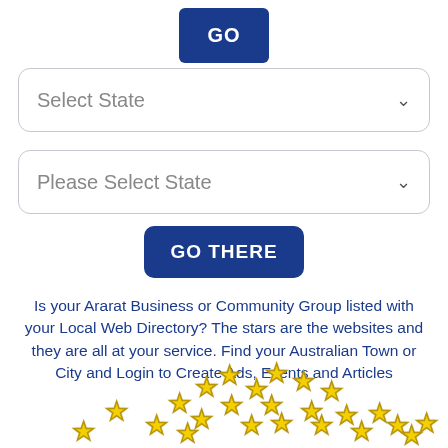[Figure (screenshot): GO button - dark blue rounded rectangle button with white text]
[Figure (screenshot): Select State dropdown - rounded rectangle with placeholder text and chevron]
[Figure (screenshot): Please Select State dropdown - rounded rectangle with placeholder text and chevron]
[Figure (screenshot): GO THERE button - dark blue rounded rectangle button with white text]
Is your Ararat Business or Community Group listed with your Local Web Directory? The stars are the websites and they are all at your service. Find your Australian Town or City and Login to Create Ads, Events and Articles
[Figure (illustration): Yellow star icons arranged in an arc pattern resembling a map of Australia]